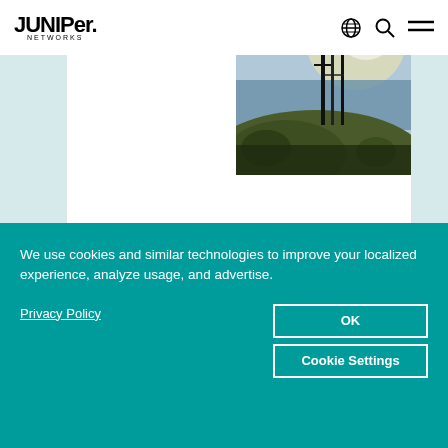Juniper Networks
s
[Figure (photo): Photograph of a hillside with tall structures/antennas against a bright sky and water in the background.]
Onati
We use cookies and similar technologies to improve your localized experience, analyze usage, and advertise.
Privacy Policy
OK
Cookie Settings